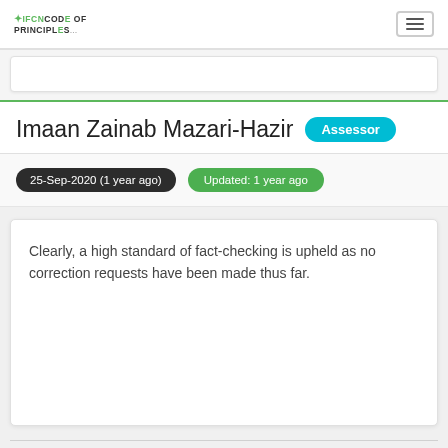IFCN CODE OF PRINCIPLES
Imaan Zainab Mazari-Hazir Assessor
25-Sep-2020 (1 year ago) Updated: 1 year ago
Clearly, a high standard of fact-checking is upheld as no correction requests have been made thus far.